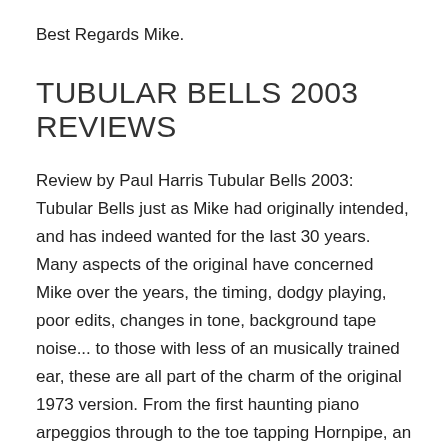Best Regards Mike.
TUBULAR BELLS 2003 REVIEWS
Review by Paul Harris Tubular Bells 2003: Tubular Bells just as Mike had originally intended, and has indeed wanted for the last 30 years. Many aspects of the original have concerned Mike over the years, the timing, dodgy playing, poor edits, changes in tone, background tape noise... to those with less of an musically trained ear, these are all part of the charm of the original 1973 version. From the first haunting piano arpeggios through to the toe tapping Hornpipe, an album of imperfections, and genius side by side.